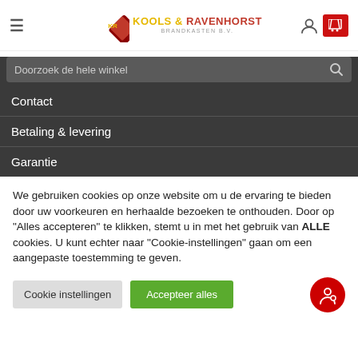[Figure (logo): Kools & Ravenhorst Brandkasten B.V. logo with red diamond shape]
Doorzoek de hele winkel
Contact
Betaling & levering
Garantie
We gebruiken cookies op onze website om u de ervaring te bieden door uw voorkeuren en herhaalde bezoeken te onthouden. Door op "Alles accepteren" te klikken, stemt u in met het gebruik van ALLE cookies. U kunt echter naar "Cookie-instellingen" gaan om een aangepaste toestemming te geven.
Cookie instellingen | Accepteer alles